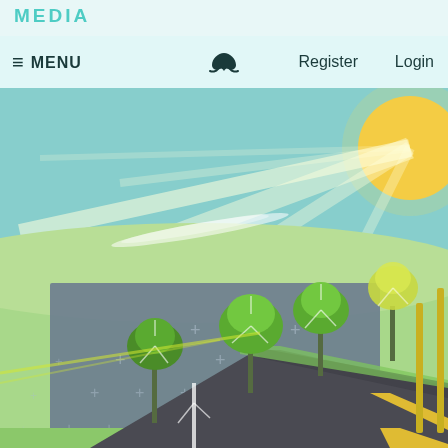MEDIA
≡ MENU  [whale logo]  Register  Login
[Figure (illustration): Flat vector illustration of a road scene with a sunny sky, green landscape, trees, a noise barrier wall with cross/plus patterns, a road with yellow dashed lane markings, and yellow poles along the roadside. Sunrays radiate from a yellow sun in the upper right corner.]